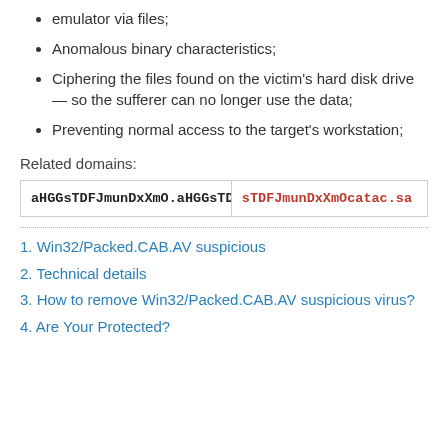emulator via files;
Anomalous binary characteristics;
Ciphering the files found on the victim’s hard disk drive — so the sufferer can no longer use the data;
Preventing normal access to the target’s workstation;
Related domains:
| aHGGsTDFJmunDxXmO.aHGGsTDFJmunDxXmO | sTDFJmunDxXmOcatac.sa |
1. Win32/Packed.CAB.AV suspicious
2. Technical details
3. How to remove Win32/Packed.CAB.AV suspicious virus?
4. Are Your Protected?